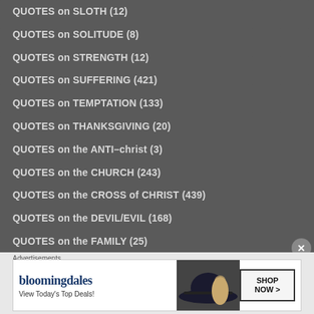QUOTES on SLOTH (12)
QUOTES on SOLITUDE (8)
QUOTES on STRENGTH (12)
QUOTES on SUFFERING (421)
QUOTES on TEMPTATION (133)
QUOTES on THANKSGIVING (20)
QUOTES on the ANTI-christ (3)
QUOTES on the CHURCH (243)
QUOTES on the CROSS of CHRIST (439)
QUOTES on the DEVIL/EVIL (168)
QUOTES on the FAMILY (25)
[Figure (infographic): Bloomingdales advertisement banner with logo, 'View Today's Top Deals!' text, a woman in a wide-brim hat, and 'SHOP NOW >' button]